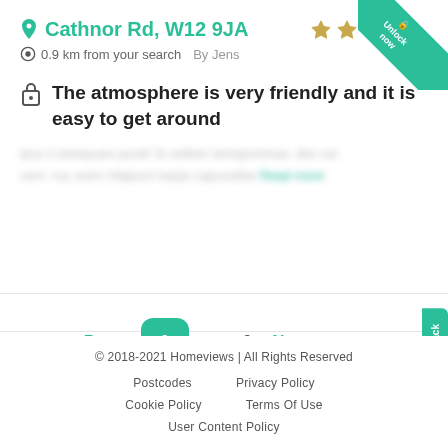Cathnor Rd, W12 9JA
0.9 km from your search   By Jens
The atmosphere is very friendly and it is easy to get around
[blurred review text] Read more
Prev  1  ...  9  Next
© 2018-2021 Homeviews | All Rights Reserved
Postcodes   Privacy Policy
Cookie Policy   Terms Of Use
User Content Policy